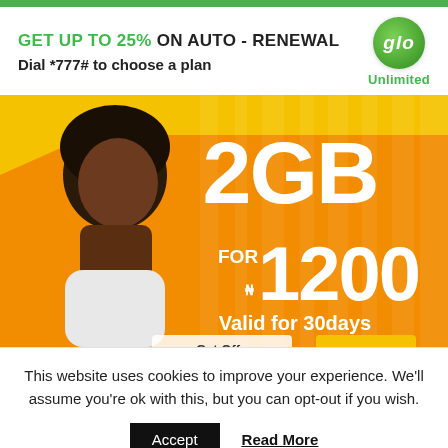[Figure (illustration): Green top bar/banner strip at the top of the page]
GET UP TO 25% ON AUTO - RENEWAL
Dial *777# to choose a plan
[Figure (logo): Glo Unlimited logo - green circle with 'glo' text and 'Unlimited' label below]
[Figure (illustration): Glo mobile data advertisement: orange background with vertical stripes, woman smiling looking at phone, large white text '2GB FOR N1200 Valid for 30days', partial 'Get Off' button visible at bottom]
This website uses cookies to improve your experience. We'll assume you're ok with this, but you can opt-out if you wish.
Accept
Read More